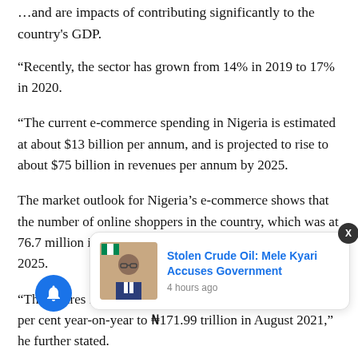...and are impacts of contributing significantly to the country's GDP.
“Recently, the sector has grown from 14% in 2019 to 17% in 2020.
“The current e-commerce spending in Nigeria is estimated at about $13 billion per annum, and is projected to rise to about $75 billion in revenues per annum by 2025.
The market outlook for Nigeria’s e-commerce shows that the number of online shoppers in the country, which was at 76.7 million in 2021, is expected to hit 122.5 million by 2025.
“The figures fro... n (NIBSS)... actions increased by 85.5 per cent year-on-year to ₦171.99 trillion in August 2021,” he further stated.
[Figure (other): Notification popup showing photo of a man in a suit with Nigerian flag pin, with headline 'Stolen Crude Oil: Mele Kyari Accuses Government' and timestamp '4 hours ago'. Close button X in top right. Blue bell notification icon with badge '3' in bottom left.]